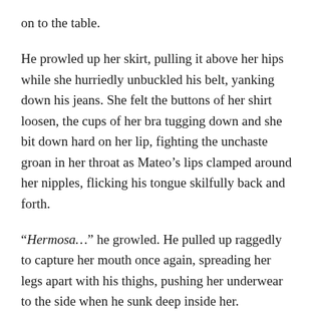on to the table.
He prowled up her skirt, pulling it above her hips while she hurriedly unbuckled his belt, yanking down his jeans. She felt the buttons of her shirt loosen, the cups of her bra tugging down and she bit down hard on her lip, fighting the unchaste groan in her throat as Mateo’s lips clamped around her nipples, flicking his tongue skilfully back and forth.
“Hermosa…” he growled. He pulled up raggedly to capture her mouth once again, spreading her legs apart with his thighs, pushing her underwear to the side when he sunk deep inside her.